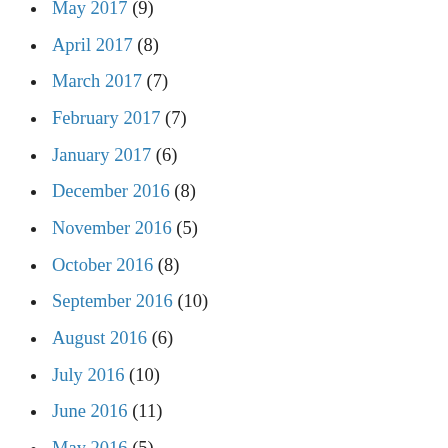May 2017 (9)
April 2017 (8)
March 2017 (7)
February 2017 (7)
January 2017 (6)
December 2016 (8)
November 2016 (5)
October 2016 (8)
September 2016 (10)
August 2016 (6)
July 2016 (10)
June 2016 (11)
May 2016 (5)
April 2016 (7)
March 2016 (7)
February 2016 (7)
January 2016 (6)